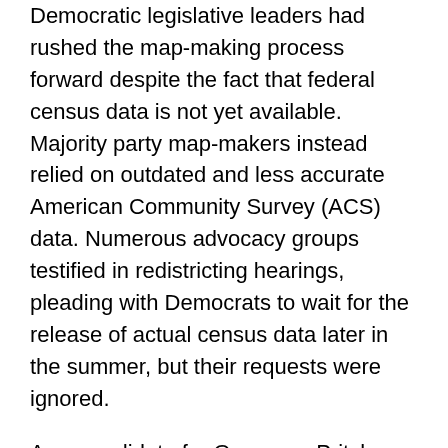Democratic legislative leaders had rushed the map-making process forward despite the fact that federal census data is not yet available. Majority party map-makers instead relied on outdated and less accurate American Community Survey (ACS) data. Numerous advocacy groups testified in redistricting hearings, pleading with Democrats to wait for the release of actual census data later in the summer, but their requests were ignored.
As a candidate for Governor, Pritzker had repeatedly expressed his support for redistricting reform, going so far as to explicitly promise to veto any map drawn by politicians.
At a June 1 press conference, just a few days after the passage of the Democrats' maps, the Governor told reporters that he had not reviewed the maps but would be reviewing them soon. Three short days later, the Governor failed to live up to his campaign